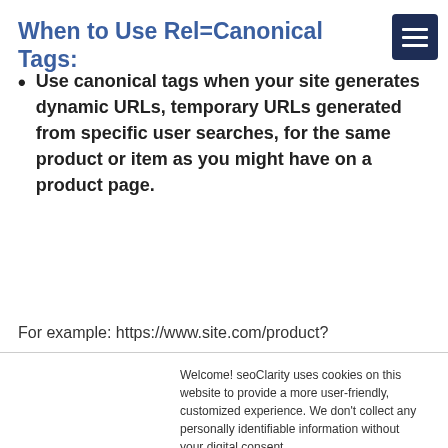When to Use Rel=Canonical Tags:
Use canonical tags when your site generates dynamic URLs, temporary URLs generated from specific user searches, for the same product or item as you might have on a product page.
For example: https://www.site.com/product?
Welcome! seoClarity uses cookies on this website to provide a more user-friendly, customized experience. We don't collect any personally identifiable information without your digital consent. Privacy Policy

If you decline, a single cookie will be used in your browser to remember your preference not to be tracked.